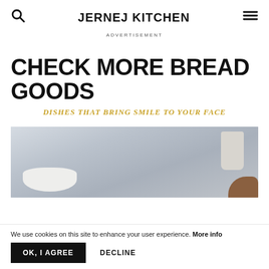JERNEJ KITCHEN
ADVERTISEMENT
CHECK MORE BREAD GOODS
DISHES THAT BRING SMILE TO YOUR FACE
[Figure (photo): Blurred kitchen scene with white bowl, mug, and hand on light gray background]
We use cookies on this site to enhance your user experience. More info
OK, I AGREE   DECLINE